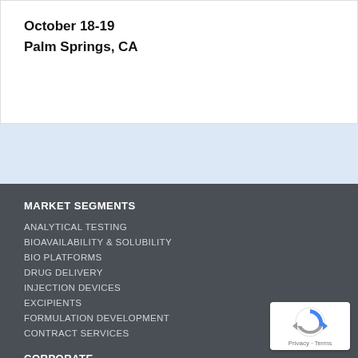October 18-19
Palm Springs, CA
MARKET SEGMENTS
ANALYTICAL TESTING
BIOAVAILABILITY & SOLUBILITY
BIO PLATFORMS
DRUG DELIVERY
INJECTION DEVICES
EXCIPIENTS
FORMULATION DEVELOPMENT
CONTRACT SERVICES
CORPORATE
SUBMISSION GUIDELINES
ABOUT US
[Figure (logo): reCAPTCHA badge with blue and grey arrow logo, Privacy and Terms text]